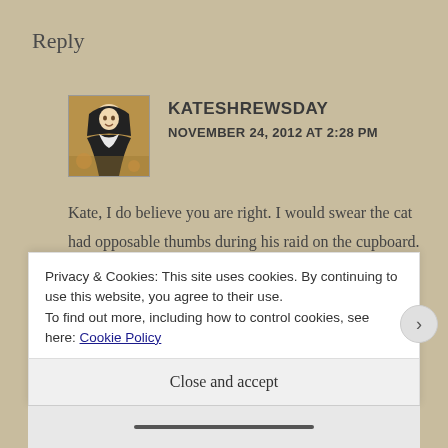Reply
KATESHREWSDAY
NOVEMBER 24, 2012 AT 2:28 PM
Kate, I do believe you are right. I would swear the cat had opposable thumbs during his raid on the cupboard. Most strange.
Privacy & Cookies: This site uses cookies. By continuing to use this website, you agree to their use.
To find out more, including how to control cookies, see here: Cookie Policy
Close and accept